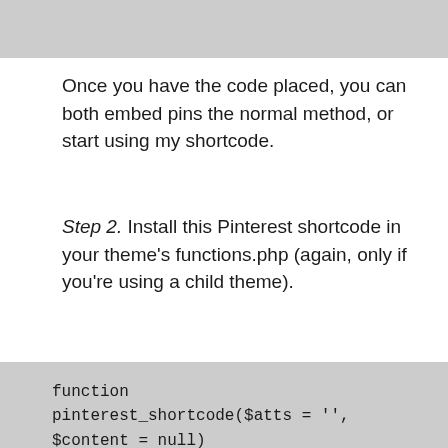[Figure (screenshot): Gray bar at top of page, partial content from previous section]
Once you have the code placed, you can both embed pins the normal method, or start using my shortcode.
Step 2.  Install this Pinterest shortcode in your theme's functions.php (again, only if you're using a child theme).
function pinterest_shortcode($atts = '',
$content = null)
{
$a = shortcode_atts( array(
'width' => 'large',
), $atts );